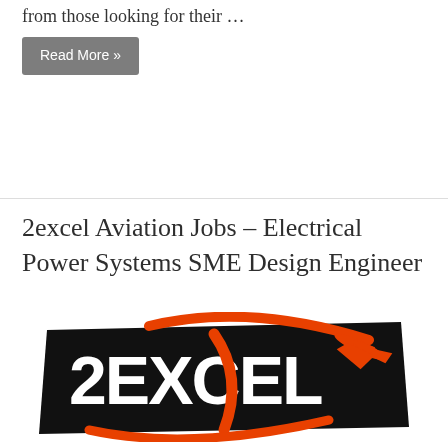from those looking for their …
Read More »
2excel Aviation Jobs – Electrical Power Systems SME Design Engineer
[Figure (logo): 2excel Aviation company logo — black trapezoidal background with white bold text '2EXCEL' and an orange swoosh/aircraft silhouette overlay]